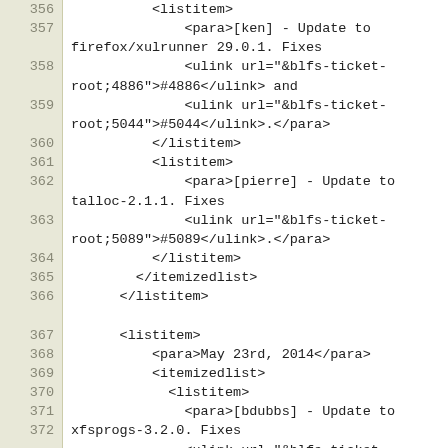Code view showing XML source lines 356-373 of a changelog document, including listitem, para, ulink elements for firefox/xulrunner 29.0.1, talloc-2.1.1, and xfsprogs-3.2.0 updates.